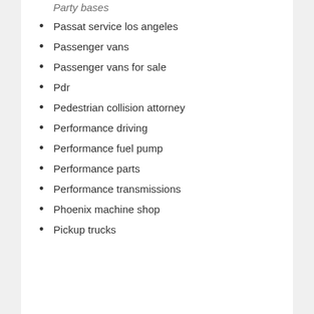Party bases
Passat service los angeles
Passenger vans
Passenger vans for sale
Pdr
Pedestrian collision attorney
Performance driving
Performance fuel pump
Performance parts
Performance transmissions
Phoenix machine shop
Pickup trucks